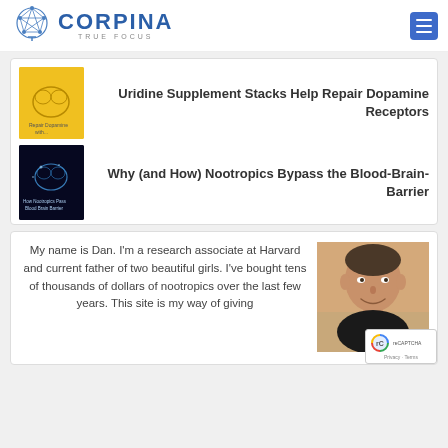[Figure (logo): Corpina True Focus logo with brain network icon and blue text]
Uridine Supplement Stacks Help Repair Dopamine Receptors
Why (and How) Nootropics Bypass the Blood-Brain-Barrier
My name is Dan. I'm a research associate at Harvard and current father of two beautiful girls. I've bought tens of thousands of dollars of nootropics over the last few years. This site is my way of giving